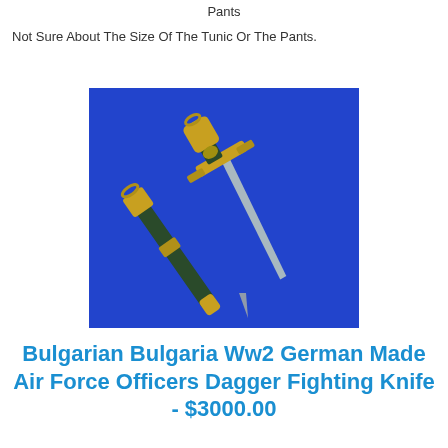Pants
Not Sure About The Size Of The Tunic Or The Pants.
[Figure (photo): Photo of a Bulgarian WW2 German-made Air Force Officers Dagger/Fighting Knife with scabbard, shown on a blue background. The dagger has gold fittings and a dark green grip/scabbard.]
Bulgarian Bulgaria Ww2 German Made Air Force Officers Dagger Fighting Knife - $3000.00